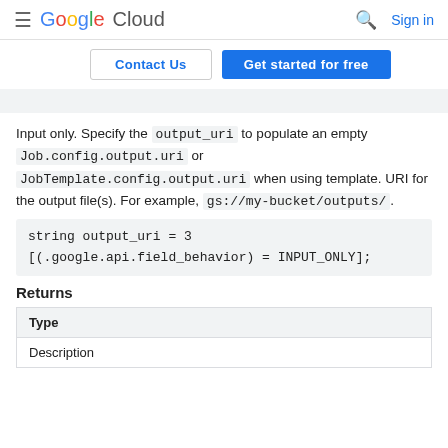Google Cloud | Sign in
Contact Us | Get started for free
Input only. Specify the output_uri to populate an empty Job.config.output.uri or JobTemplate.config.output.uri when using template. URI for the output file(s). For example, gs://my-bucket/outputs/.
Returns
| Type |
| --- |
| Description |